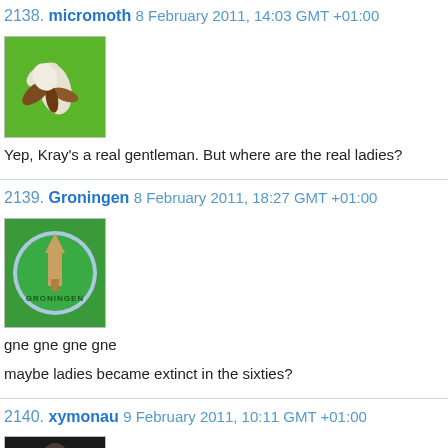2138. micromoth 8 February 2011, 14:03 GMT +01:00
[Figure (illustration): Avatar image of micromoth: cartoon illustration of a moth on a green background]
Yep, Kray's a real gentleman. But where are the real ladies?
2139. Groningen 8 February 2011, 18:27 GMT +01:00
[Figure (illustration): Avatar image of Groningen: circular logo with a tower/spire graphic on green background with text GRONINGEN]
gne gne gne gne
maybe ladies became extinct in the sixties?
2140. xymonau 9 February 2011, 10:11 GMT +01:00
[Figure (photo): Avatar photo of xymonau: dark photo portrait]